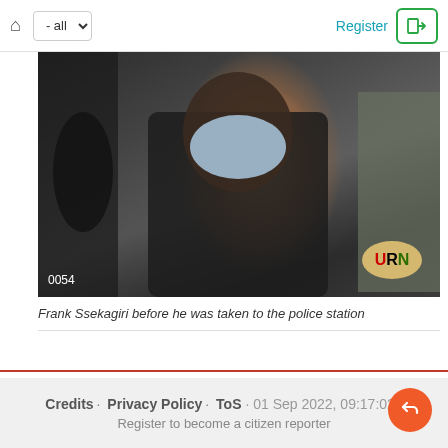- all | Register
[Figure (photo): Frank Ssekagiri wearing a blue face mask, in a dark suit, standing near a car. A URN logo badge is visible in the lower right. Timestamp 0054 visible in lower left.]
Frank Ssekagiri before he was taken to the police station
Credits · Privacy Policy · ToS · 01 Sep 2022, 09:17:02 · Register to become a citizen reporter